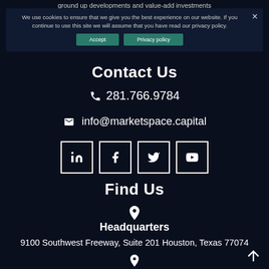ground up developments and value-add investments throughout the United States.
We use cookies to ensure that we give you the best experience on our website. If you continue to use this site we will assume that you have read our privacy policy.
Contact Us
281.766.9784
info@marketspace.capital
[Figure (other): Social media icon buttons: LinkedIn, Facebook, Twitter, YouTube — white bordered square boxes]
Find Us
[Figure (other): Map pin location icon]
Headquarters
9100 Southwest Freeway, Suite 201 Houston, Texas 77074
[Figure (other): Second map pin location icon at bottom]